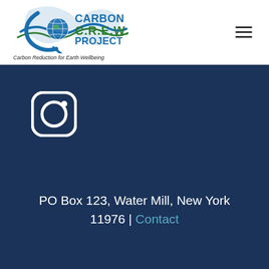[Figure (logo): Carbon C.R.E.W. Project logo with wave and globe icon in blue and green, text reading CARBON CREW PROJECT]
Carbon Reduction for Earth Wellbeing
[Figure (illustration): Instagram icon (rounded square with circle and dot) in white on dark navy background]
PO Box 123, Water Mill, New York 11976 | Contact